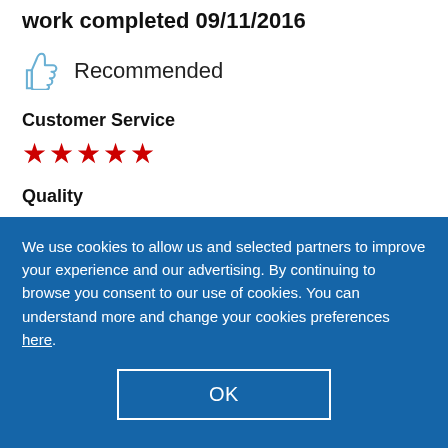work completed 09/11/2016
Recommended
Customer Service
★★★★★ (5 stars)
Quality
★★★★★ (5 stars)
Value
We use cookies to allow us and selected partners to improve your experience and our advertising. By continuing to browse you consent to our use of cookies. You can understand more and change your cookies preferences here.
OK